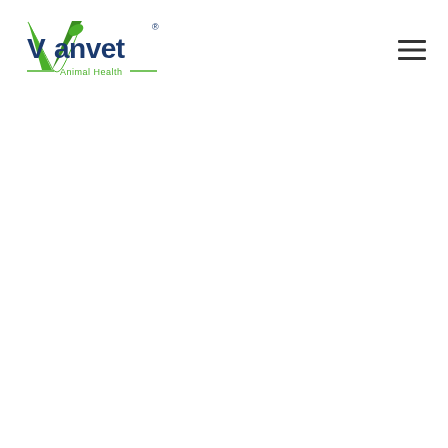[Figure (logo): Vanvet Animal Health logo — green leaf V, dark blue 'anvet' text with registered trademark symbol, green decorative lines flanking 'Animal Health' tagline below]
[Figure (other): Hamburger menu icon — three horizontal dark lines stacked]